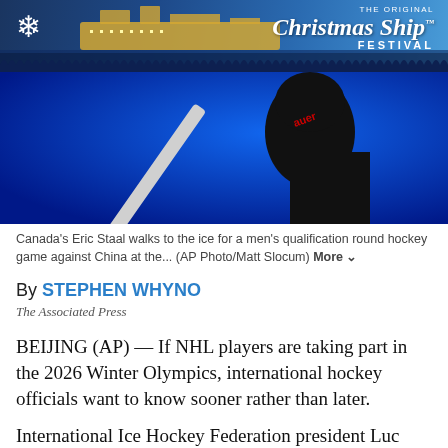[Figure (photo): Advertisement banner for The Original Christmas Ship Festival with a cruise ship on water and snowflake icon on dark blue background]
[Figure (photo): Hockey player in dark uniform holding a hockey stick against a bright blue background — Canada's Eric Staal walks to the ice]
Canada's Eric Staal walks to the ice for a men's qualification round hockey game against China at the... (AP Photo/Matt Slocum) More
By STEPHEN WHYNO
The Associated Press
BEIJING (AP) — If NHL players are taking part in the 2026 Winter Olympics, international hockey officials want to know sooner rather than later.
International Ice Hockey Federation president Luc Tardif said Thursday he is optimistic about reaching